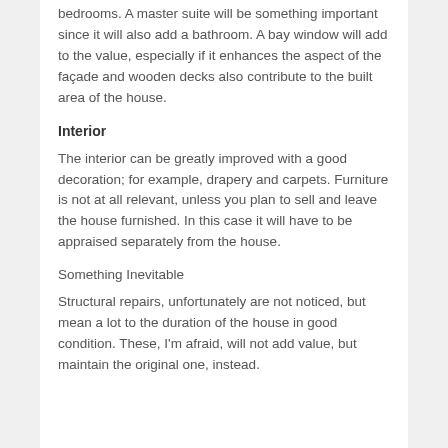bedrooms. A master suite will be something important since it will also add a bathroom. A bay window will add to the value, especially if it enhances the aspect of the façade and wooden decks also contribute to the built area of the house.
Interior
The interior can be greatly improved with a good decoration; for example, drapery and carpets. Furniture is not at all relevant, unless you plan to sell and leave the house furnished. In this case it will have to be appraised separately from the house.
Something Inevitable
Structural repairs, unfortunately are not noticed, but mean a lot to the duration of the house in good condition. These, I'm afraid, will not add value, but maintain the original one, instead.